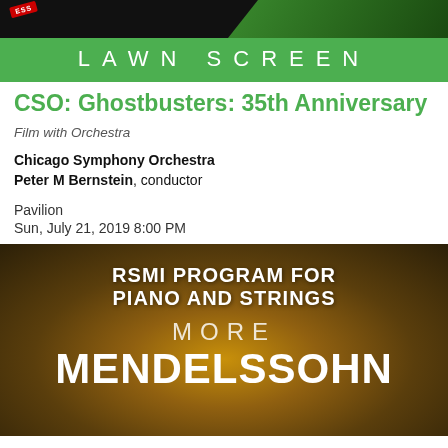[Figure (photo): Dark top banner with Ghostbusters logo/imagery in green and red badge on left]
LAWN SCREEN
CSO: Ghostbusters: 35th Anniversary
Film with Orchestra
Chicago Symphony Orchestra
Peter M Bernstein, conductor
Pavilion
Sun, July 21, 2019 8:00 PM
[Figure (photo): Dark golden/brown advertisement image with white bold text reading RSMI PROGRAM FOR PIANO AND STRINGS MORE MENDELSSOHN]